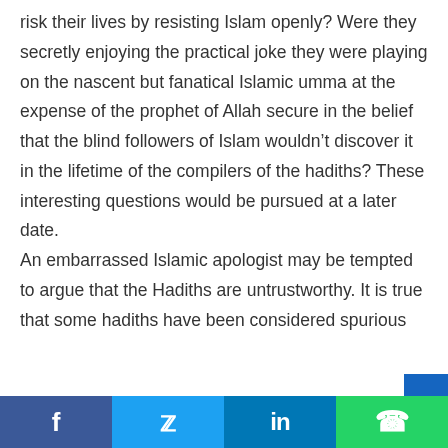risk their lives by resisting Islam openly? Were they secretly enjoying the practical joke they were playing on the nascent but fanatical Islamic umma at the expense of the prophet of Allah secure in the belief that the blind followers of Islam wouldn't discover it in the lifetime of the compilers of the hadiths? These interesting questions would be pursued at a later date.

An embarrassed Islamic apologist may be tempted to argue that the Hadiths are untrustworthy. It is true that some hadiths have been considered spurious
Facebook | Twitter | LinkedIn | WhatsApp